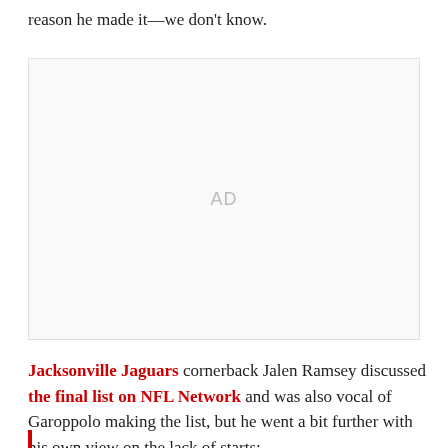reason he made it—we don't know.
[Figure (other): Advertisement placeholder box with 'AD' label]
Jacksonville Jaguars cornerback Jalen Ramsey discussed the final list on NFL Network and was also vocal of Garoppolo making the list, but he went a bit further with his own view on the lack of starts: